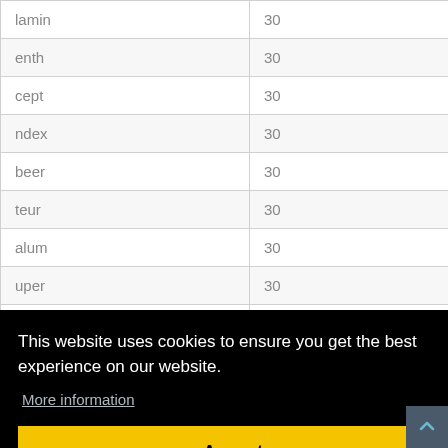| lamin | 30 |
| enth | 30 |
| cept | 30 |
| ndex | 30 |
| beer | 30 |
| teur | 30 |
| alum | 30 |
| uper | 30 |
|  |  |
|  |  |
| pen | 30 |
This website uses cookies to ensure you get the best experience on our website.
More information
Accept